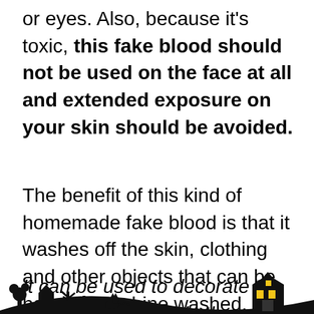or eyes. Also, because it's toxic, this fake blood should not be used on the face at all and extended exposure on your skin should be avoided.
The benefit of this kind of homemade fake blood is that it washes off the skin, clothing and other objects that can be hand or machine washed.
It can be used to decorate the home, clothing and other decorations. However, I don't recommend using any fake blood products on carpet, valuable rugs, etc. because there is
[Figure (illustration): Halloween silhouette scene at the bottom of the page: haunted house with trees, ghosts, bats, and a lit jack-o-lantern style house with yellow windows, all in black silhouette against white background.]